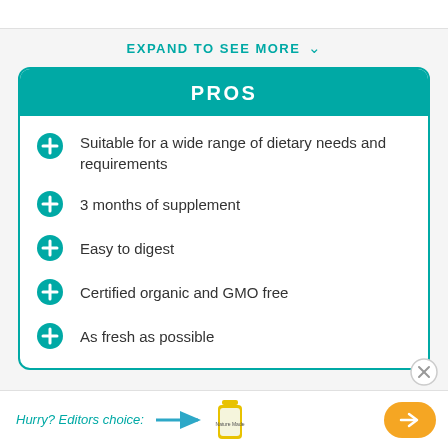EXPAND TO SEE MORE
PROS
Suitable for a wide range of dietary needs and requirements
3 months of supplement
Easy to digest
Certified organic and GMO free
As fresh as possible
Hurry? Editors choice: